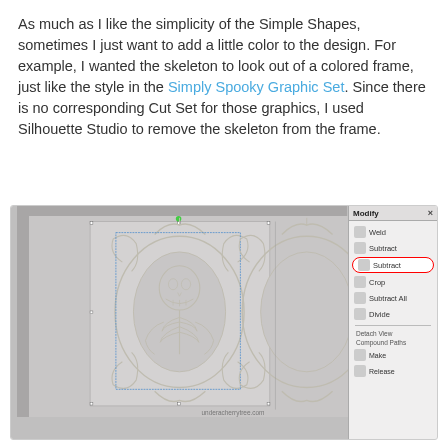As much as I like the simplicity of the Simple Shapes, sometimes I just want to add a little color to the design. For example, I wanted the skeleton to look out of a colored frame, just like the style in the Simply Spooky Graphic Set. Since there is no corresponding Cut Set for those graphics, I used Silhouette Studio to remove the skeleton from the frame.
[Figure (screenshot): Screenshot of Silhouette Studio software showing two ornate spooky frames side by side on the canvas. The left frame contains a skeleton figure inside an oval. The right frame shows just the ornate frame without the skeleton. A Modify panel is visible on the right side with the Subtract option highlighted with a red oval circle. Watermark reads underacherrytree.com]